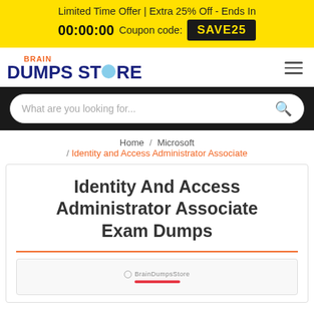Limited Time Offer | Extra 25% Off - Ends In 00:00:00 Coupon code: SAVE25
[Figure (logo): BrainDumpsStore logo with brain icon]
What are you looking for...
Home / Microsoft / Identity and Access Administrator Associate
Identity And Access Administrator Associate Exam Dumps
[Figure (screenshot): BrainDumpsStore product preview image]